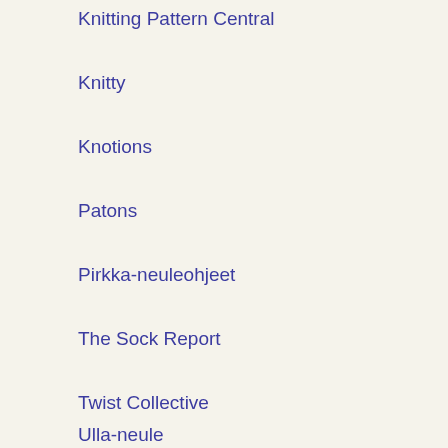Knitting Pattern Central
Knitty
Knotions
Patons
Pirkka-neuleohjeet
The Sock Report
Twist Collective
Ulla-neule